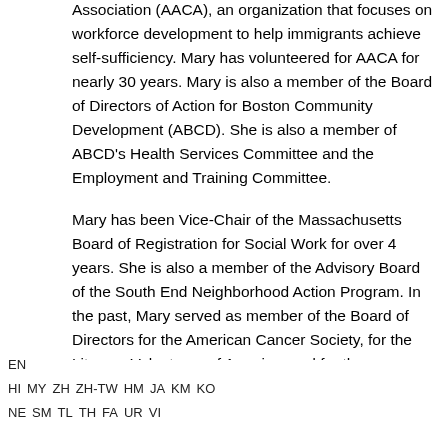Association (AACA), an organization that focuses on workforce development to help immigrants achieve self-sufficiency. Mary has volunteered for AACA for nearly 30 years. Mary is also a member of the Board of Directors of Action for Boston Community Development (ABCD). She is also a member of ABCD's Health Services Committee and the Employment and Training Committee.
Mary has been Vice-Chair of the Massachusetts Board of Registration for Social Work for over 4 years. She is also a member of the Advisory Board of the South End Neighborhood Action Program. In the past, Mary served as member of the Board of Directors for the American Cancer Society, for the Literacy Volunteers of America, and for the
EN  HI  MY  ZH  ZH-TW  HM  JA  KM  KO  NE  SM  TL  TH  FA  UR  VI